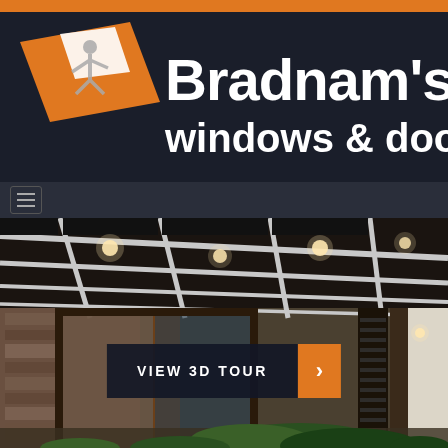[Figure (logo): Bradnam's Windows & Doors company logo with orange and dark background, featuring a stylized person/diamond icon and white text]
[Figure (screenshot): Website screenshot showing navigation hamburger menu bar]
[Figure (photo): Architectural photo of a modern home exterior with pergola ceiling, recessed lighting, large sliding glass doors, stone wall, and lush greenery at dusk/evening]
VIEW 3D TOUR